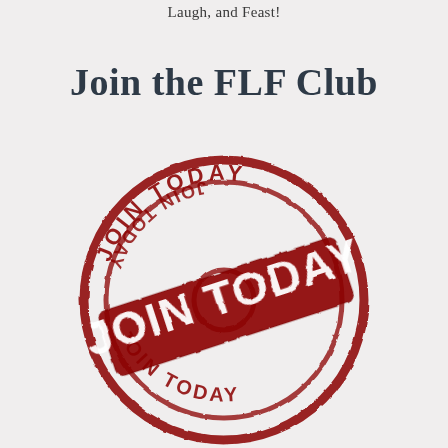Laugh, and Feast!
Join the FLF Club
[Figure (illustration): A red distressed rubber stamp graphic with a circular border reading 'JOIN TODAY' repeated around the ring, and a bold diagonal banner across the center reading 'JOIN TODAY' in large white letters on a dark red background.]